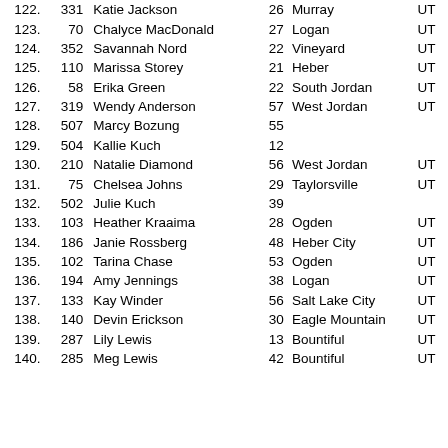| Rank | Bib | Name | Age | City | State |
| --- | --- | --- | --- | --- | --- |
| 122. | 331 | Katie Jackson | 26 | Murray | UT |
| 123. | 70 | Chalyce MacDonald | 27 | Logan | UT |
| 124. | 352 | Savannah Nord | 22 | Vineyard | UT |
| 125. | 110 | Marissa Storey | 21 | Heber | UT |
| 126. | 58 | Erika Green | 22 | South Jordan | UT |
| 127. | 319 | Wendy Anderson | 57 | West Jordan | UT |
| 128. | 507 | Marcy Bozung | 55 |  |  |
| 129. | 504 | Kallie Kuch | 12 |  |  |
| 130. | 210 | Natalie Diamond | 56 | West Jordan | UT |
| 131. | 75 | Chelsea Johns | 29 | Taylorsville | UT |
| 132. | 502 | Julie Kuch | 39 |  |  |
| 133. | 103 | Heather Kraaima | 28 | Ogden | UT |
| 134. | 186 | Janie Rossberg | 48 | Heber City | UT |
| 135. | 102 | Tarina Chase | 53 | Ogden | UT |
| 136. | 194 | Amy Jennings | 38 | Logan | UT |
| 137. | 133 | Kay Winder | 56 | Salt Lake City | UT |
| 138. | 140 | Devin Erickson | 30 | Eagle Mountain | UT |
| 139. | 287 | Lily Lewis | 13 | Bountiful | UT |
| 140. | 285 | Meg Lewis | 42 | Bountiful | UT |